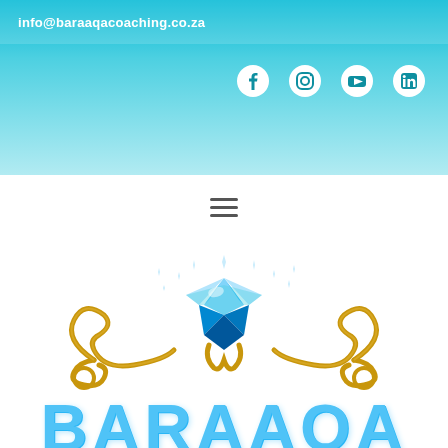info@baraaqacoaching.co.za
[Figure (logo): Baraaqa Coaching logo with blue diamond gemstone, gold ornamental scrollwork, and social media icons (Facebook, Instagram, YouTube, LinkedIn) in a teal/cyan gradient header bar. Large text 'BARAAQA' in light blue at the bottom.]